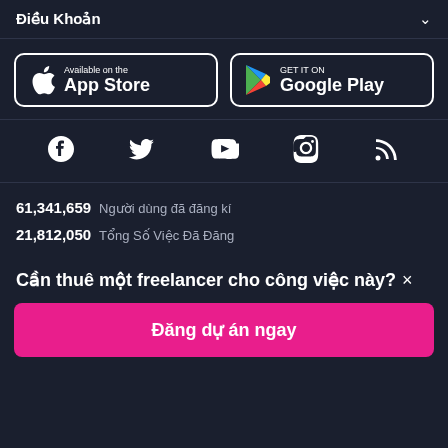Điều Khoản
[Figure (logo): App Store download button with Apple logo]
[Figure (logo): Google Play download button with Play logo]
[Figure (infographic): Social media icons row: Facebook, Twitter, YouTube, Instagram, RSS]
61,341,659  Người dùng đã đăng kí
21,812,050  Tổng Số Việc Đã Đăng
Cần thuê một freelancer cho công việc này?×
Đăng dự án ngay